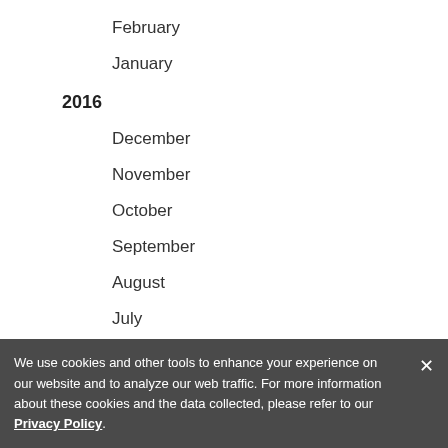February
January
2016
December
November
October
September
August
July
June
May
We use cookies and other tools to enhance your experience on our website and to analyze our web traffic. For more information about these cookies and the data collected, please refer to our Privacy Policy.